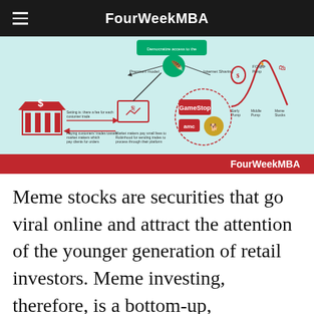FourWeekMBA
[Figure (infographic): Infographic about meme stocks and retail investing platform/robinhood mechanics, showing Robinhood app model, internet sharing, meme stocks (GameStop, AMC, Dogecoin), and a pump-and-dump price curve. FourWeekMBA branding on red bar at bottom.]
Meme stocks are securities that go viral online and attract the attention of the younger generation of retail investors. Meme investing, therefore, is a bottom-up,